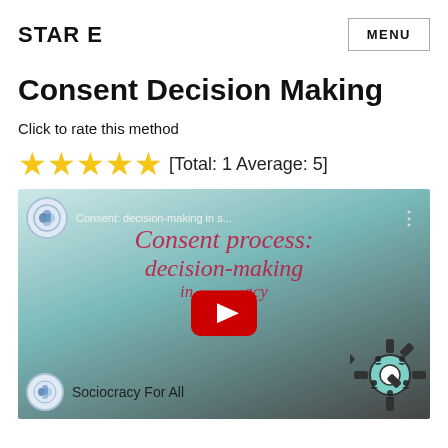STAR E
MENU
Consent Decision Making
Click to rate this method
[Figure (other): Five gold star rating with label [Total: 1 Average: 5]]
[Figure (screenshot): YouTube video thumbnail for 'Consent: decision-making in s...' showing pink italic text 'Consent process: decision-making in sociocracy' with YouTube play button, Sociocracy For All logo at bottom left and gear decoration at bottom right]